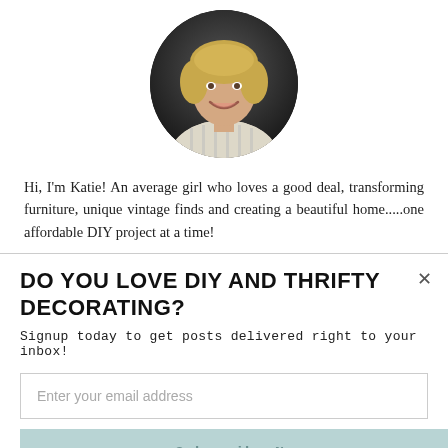[Figure (photo): Circular portrait photo of a smiling blonde woman wearing a striped shirt, with dark background.]
Hi, I'm Katie! An average girl who loves a good deal, transforming furniture, unique vintage finds and creating a beautiful home.....one affordable DIY project at a time!
DO YOU LOVE DIY AND THRIFTY DECORATING?
Signup today to get posts delivered right to your inbox!
Enter your email address
Subscribe Now